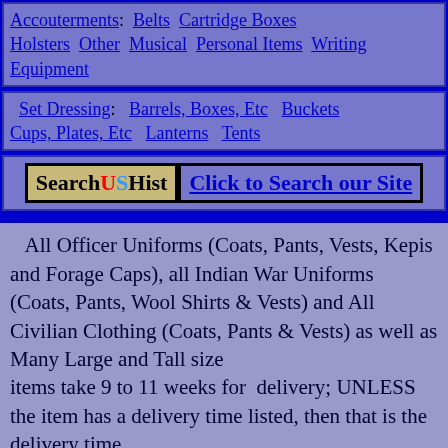Accouterments: Belts  Cartridge Boxes  Holsters  Other  Musical  Personal Items  Writing Equipment
Set Dressing:  Barrels, Boxes, Etc  Buckets  Cups, Plates, Etc  Lanterns  Tents
SearchUSHist  Click to Search our Site
All Officer Uniforms (Coats, Pants, Vests, Kepis and Forage Caps), all Indian War Uniforms (Coats, Pants, Wool Shirts & Vests) and All Civilian Clothing (Coats, Pants & Vests) as well as Many Large and Tall size items take 9 to 11 weeks for delivery; UNLESS the item has a delivery time listed, then that is the delivery time. Most other clothing (WHITE Cotton Shirts, Cravats, Suspenders, Felt Hats, etc.) take 2 - 4 weeks for delivery.